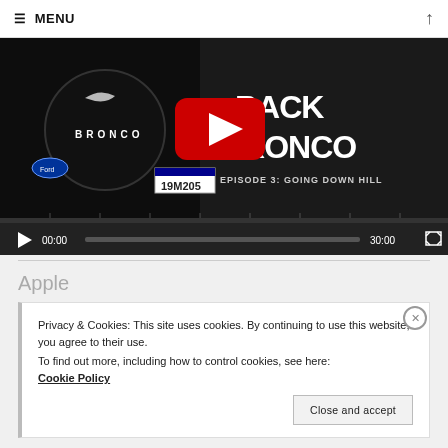≡ MENU ↑
[Figure (screenshot): YouTube video player showing 'Back Bronco Episode 3: Going Down Hill' with a Ford Bronco vehicle. Video controls show 00:00 / 30:00 with play button and fullscreen icon.]
Apple
Privacy & Cookies: This site uses cookies. By continuing to use this website, you agree to their use.
To find out more, including how to control cookies, see here:
Cookie Policy
Close and accept